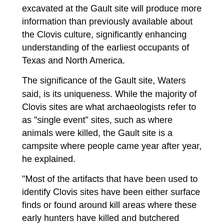excavated at the Gault site will produce more information than previously available about the Clovis culture, significantly enhancing understanding of the earliest occupants of Texas and North America.
The significance of the Gault site, Waters said, is its uniqueness. While the majority of Clovis sites are what archaeologists refer to as "single event" sites, such as where animals were killed, the Gault site is a campsite where people came year after year, he explained.
"Most of the artifacts that have been used to identify Clovis sites have been either surface finds or found around kill areas where these early hunters have killed and butchered mammoths and bison," Shafer said. "Very few campsite situations have been found for Clovis and those that have, have been very thin."
"What we have here, at Gault, is at least five stratigraphically separate occupational events - something unheard of and unprecedented in PaleoIndian archaeology," Waters added. "This will enable us to get a picture of the Clovis culture as it progressed throughout the course of 500 to 700 years," he explained.
The Gault site, which extends more than five acres, is situated at the head of a creek, near a series of springs in Central Texas. The Gault